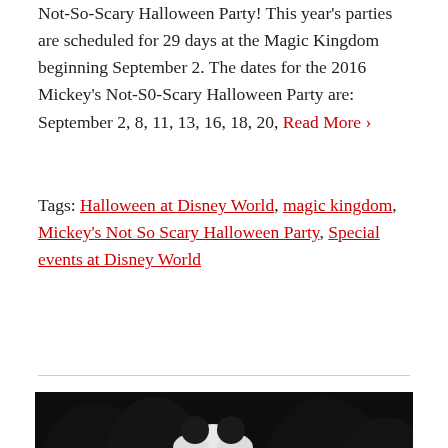Not-So-Scary Halloween Party! This year's parties are scheduled for 29 days at the Magic Kingdom beginning September 2. The dates for the 2016 Mickey's Not-S0-Scary Halloween Party are: September 2, 8, 11, 13, 16, 18, 20, Read More ›
Tags: Halloween at Disney World, magic kingdom, Mickey's Not So Scary Halloween Party, Special events at Disney World
[Figure (photo): Night-time photo of Mickey Mouse dressed in Halloween costume on a parade float with a jack-o-lantern pumpkin decoration, at Magic Kingdom Disney World. Dark background with trees and park lights visible.]